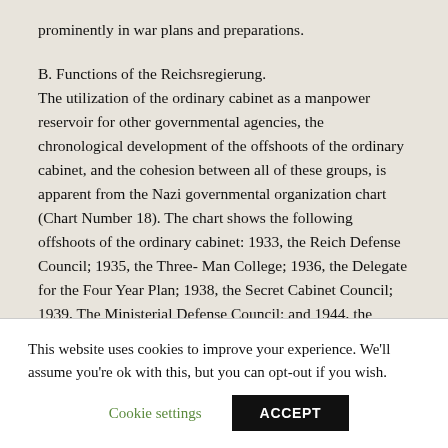prominently in war plans and preparations.
B. Functions of the Reichsregierung.
The utilization of the ordinary cabinet as a manpower reservoir for other governmental agencies, the chronological development of the offshoots of the ordinary cabinet, and the cohesion between all of these groups, is apparent from the Nazi governmental organization chart (Chart Number 18). The chart shows the following offshoots of the ordinary cabinet: 1933, the Reich Defense Council; 1935, the Three- Man College; 1936, the Delegate for the Four Year Plan; 1938, the Secret Cabinet Council; 1939, The Ministerial Defense Council; and 1944, the
This website uses cookies to improve your experience. We'll assume you're ok with this, but you can opt-out if you wish.